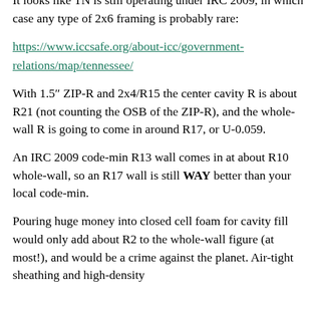It looks like TN is still operating under IRC 2009, in which case any type of 2x6 framing is probably rare:
https://www.iccsafe.org/about-icc/government-relations/map/tennessee/
With 1.5" ZIP-R and 2x4/R15 the center cavity R is about R21 (not counting the OSB of the ZIP-R), and the whole-wall R is going to come in around R17, or U-0.059.
An IRC 2009 code-min R13 wall comes in at about R10 whole-wall, so an R17 wall is still WAY better than your local code-min.
Pouring huge money into closed cell foam for cavity fill would only add about R2 to the whole-wall figure (at most!), and would be a crime against the planet. Air-tight sheathing and high-density ...